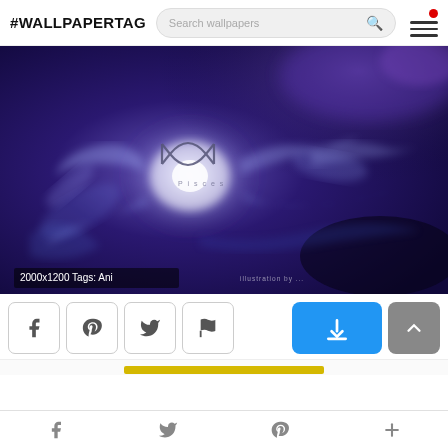#WALLPAPERTAG
[Figure (illustration): Abstract dark purple/blue digital illustration of Pisces zodiac sign with swirling smoke-like fish forms around a glowing center. Pisces symbol and text visible. Watermark 'illustration by ...' at bottom right. Overlay text: '2000x1200 Tags: Ani']
[Figure (screenshot): Social share buttons row: Facebook, Pinterest, Twitter, Flag icons in bordered boxes. Blue download button on right. Gray scroll-to-top button. Yellow progress bar. Bottom navigation bar with Facebook, Twitter, Pinterest, and plus icons.]